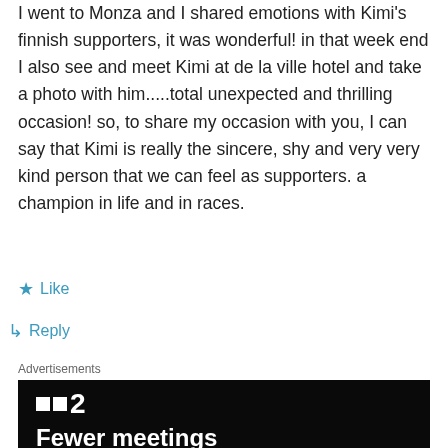I went to Monza and I shared emotions with Kimi's finnish supporters, it was wonderful! in that week end I also see and meet Kimi at de la ville hotel and take a photo with him.....total unexpected and thrilling occasion! so, to share my occasion with you, I can say that Kimi is really the sincere, shy and very very kind person that we can feel as supporters. a champion in life and in races.
★ Like
↳ Reply
Advertisements
[Figure (screenshot): Advertisement banner with black background showing a logo with two squares and the number 2, followed by bold white text reading 'Fewer meetings']